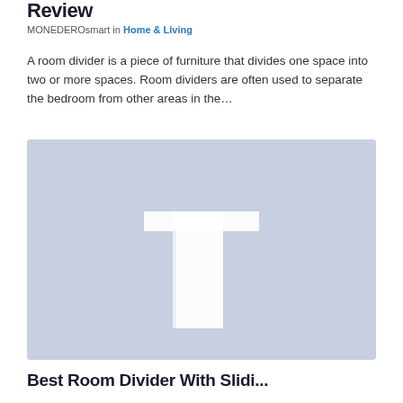Review
MONEDEROsmart in Home & Living
A room divider is a piece of furniture that divides one space into two or more spaces. Room dividers are often used to separate the bedroom from other areas in the...
[Figure (photo): Light blue-grey placeholder image showing a white T-shaped room divider or panel against a muted blue background]
Best Room Divider With Slidi...